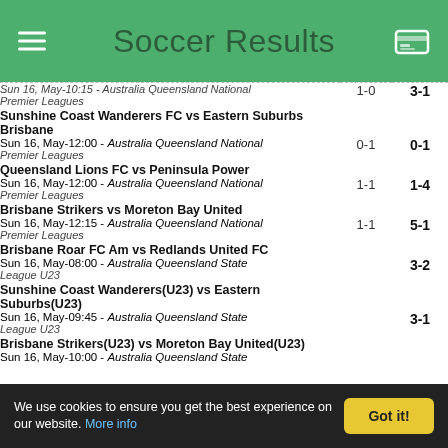Soccer Results
| Match | HT | FT |
| --- | --- | --- |
| Sun 16, May-10:15 - Australia Queensland National Premier Leagues
Sunshine Coast Wanderers FC vs Eastern Suburbs Brisbane | 1-0 | 3-1 |
| Sun 16, May-12:00 - Australia Queensland National Premier Leagues
Queensland Lions FC vs Peninsula Power | 0-1 | 0-1 |
| Sun 16, May-12:00 - Australia Queensland National Premier Leagues
Brisbane Strikers vs Moreton Bay United | 1-1 | 1-4 |
| Sun 16, May-12:15 - Australia Queensland National Premier Leagues
Brisbane Roar FC Am vs Redlands United FC | 1-1 | 5-1 |
| Sun 16, May-08:00 - Australia Queensland State League U23
Sunshine Coast Wanderers(U23) vs Eastern Suburbs(U23) |  | 3-2 |
| Sun 16, May-09:45 - Australia Queensland State League U23
Brisbane Strikers(U23) vs Moreton Bay United(U23) |  | 3-1 |
| Sun 16, May-10:00 - Australia Queensland State League U23
... |  |  |
We use cookies to ensure you get the best experience on our website. More info